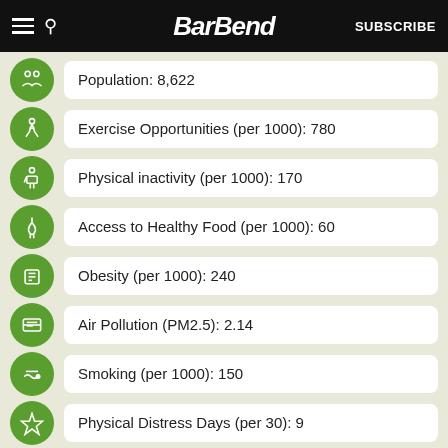BarBend — SUBSCRIBE
Population: 8,622
Exercise Opportunities (per 1000): 780
Physical inactivity (per 1000): 170
Access to Healthy Food (per 1000): 60
Obesity (per 1000): 240
Air Pollution (PM2.5): 2.14
Smoking (per 1000): 150
Physical Distress Days (per 30): 9
Poor Physical Health Days (per 30): 3